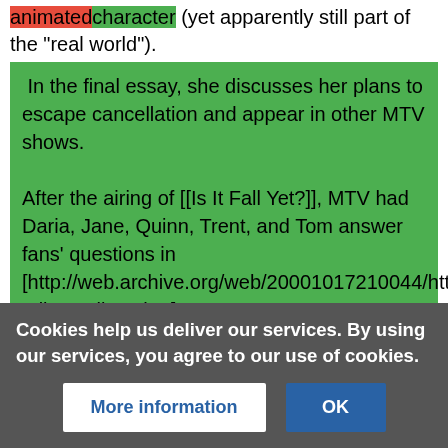animated character (yet apparently still part of the "real world").
In the final essay, she discusses her plans to escape cancellation and appear in other MTV shows.

After the airing of [[Is It Fall Yet?]], MTV had Daria, Jane, Quinn, Trent, and Tom answer fans' questions in [http://web.archive.org/web/20001017210044/http://www.mtv.com/mtv/tubescan/animation/daria/daria_chat_transcript.html a live online chat].
Anonymous user
68.1.48.3
Cookies help us deliver our services. By using our services, you agree to our use of cookies.
More information
OK